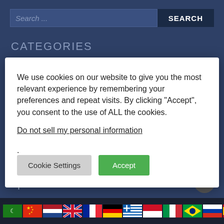Search ...
CATEGORIES
We use cookies on our website to give you the most relevant experience by remembering your preferences and repeat visits. By clicking “Accept”, you consent to the use of ALL the cookies.
Do not sell my personal information.
Cookie Settings
Accept
Multiplayer
Other
Puzzles
Sports
[Figure (illustration): Row of country flag icons: Arabic/Saudi, China, Netherlands, UK, France, Germany, Greece, Indonesia, Italy, Brazil, Russia, Spain]